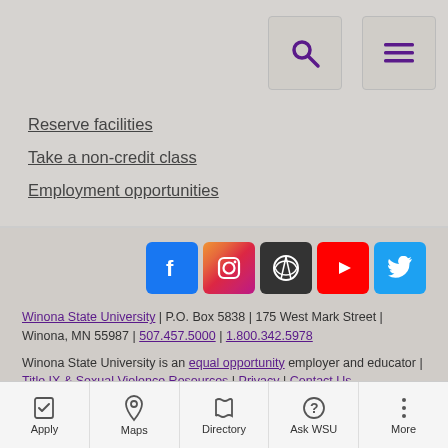Navigation header with search and menu buttons
Reserve facilities
Take a non-credit class
Employment opportunities
[Figure (other): Social media icons: Facebook, Instagram, WordPress, YouTube, Twitter]
Winona State University | P.O. Box 5838 | 175 West Mark Street | Winona, MN 55987 | 507.457.5000 | 1.800.342.5978
Winona State University is an equal opportunity employer and educator | Title IX & Sexual Violence Resources | Privacy | Contact Us
The oldest member of the colleges and universities of Minnesota State
Apply | Maps | Directory | Ask WSU | More